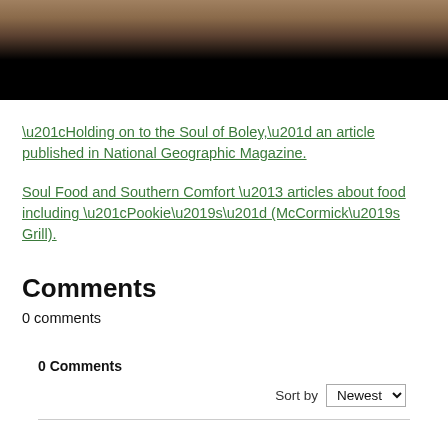[Figure (photo): Photo of a restaurant table scene, partially cropped, with dark area at bottom]
“Holding on to the Soul of Boley,” an article published in National Geographic Magazine.
Soul Food and Southern Comfort – articles about food including “Pookie’s” (McCormick’s Grill).
Comments
0 comments
0 Comments
Sort by Newest